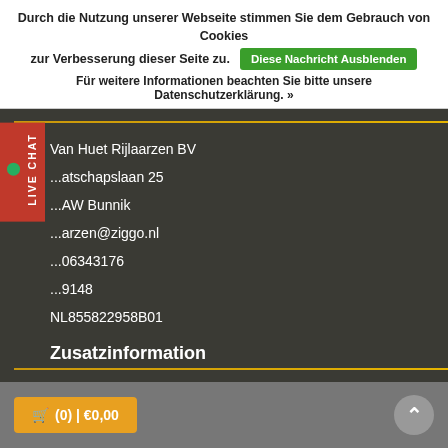Durch die Nutzung unserer Webseite stimmen Sie dem Gebrauch von Cookies zur Verbesserung dieser Seite zu.   Diese Nachricht Ausblenden
Für weitere Informationen beachten Sie bitte unsere Datenschutzerklärung. »
Van Huet Rijlaarzen BV
...atschapslaan 25
...AW Bunnik
...arzen@ziggo.nl
...06343176
...9148
NL855822958B01
Zusatzinformation
(0)  |  €0,00